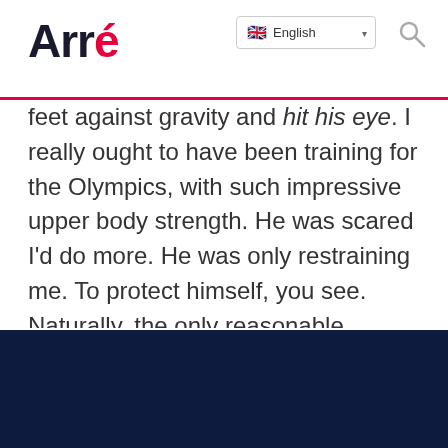Arré — English language selector and search icon
feet against gravity and hit his eye. I really ought to have been training for the Olympics, with such impressive upper body strength. He was scared I'd do more. He was only restraining me. To protect himself, you see. Naturally, the only reasonable course of action available to him was to run into the kitchen, grab a carving knife, and press it against my jugular. By the end of month one, I was weeping and apologising, promising him it would never happen again. That I'd never again get aggressive. Begging him to give us another shot.